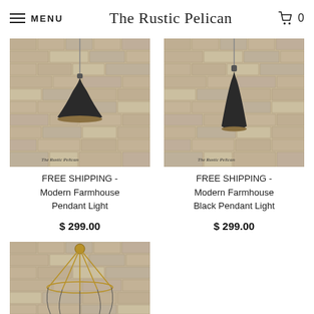MENU  The Rustic Pelican  🛒 0
[Figure (photo): Black modern farmhouse pendant light hanging against rustic brick wall background, wide flared shade, watermark 'The Rustic Pelican']
FREE SHIPPING - Modern Farmhouse Pendant Light
$ 299.00
[Figure (photo): Black modern farmhouse narrow cone pendant light hanging against rustic brick wall background, watermark 'The Rustic Pelican']
FREE SHIPPING - Modern Farmhouse Black Pendant Light
$ 299.00
[Figure (photo): Wire cage chandelier with brass hardware hanging against rustic brick wall background, partially visible at bottom of page]